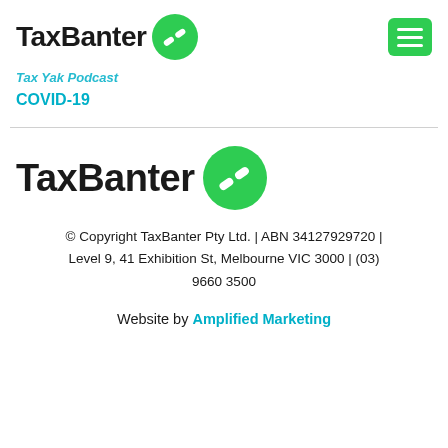TaxBanter
Tax Yak Podcast
COVID-19
[Figure (logo): TaxBanter logo with green circle icon containing white check/wave mark]
© Copyright TaxBanter Pty Ltd. | ABN 34127929720 | Level 9, 41 Exhibition St, Melbourne VIC 3000 | (03) 9660 3500
Website by Amplified Marketing